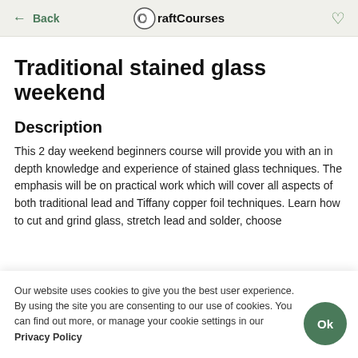← Back | Craft Courses | ♡
Traditional stained glass weekend
Description
This 2 day weekend beginners course will provide you with an in depth knowledge and experience of stained glass techniques.  The emphasis will be on practical work which will cover all aspects of both traditional lead and Tiffany copper foil techniques.  Learn how to cut and grind glass, stretch lead and solder, choose
Our website uses cookies to give you the best user experience. By using the site you are consenting to our use of cookies. You can find out more, or manage your cookie settings in our Privacy Policy